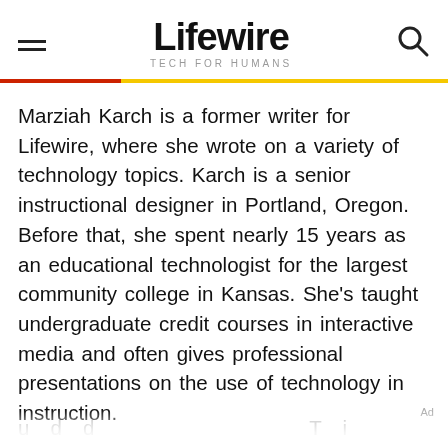Lifewire — TECH FOR HUMANS
Marziah Karch is a former writer for Lifewire, where she wrote on a variety of technology topics. Karch is a senior instructional designer in Portland, Oregon. Before that, she spent nearly 15 years as an educational technologist for the largest community college in Kansas. She's taught undergraduate credit courses in interactive media and often gives professional presentations on the use of technology in instruction.